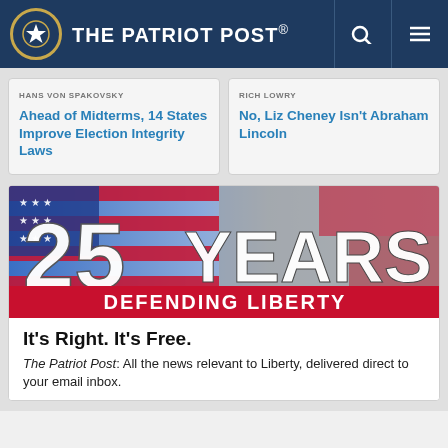The Patriot Post
HANS VON SPAKOVSKY
Ahead of Midterms, 14 States Improve Election Integrity Laws
RICH LOWRY
No, Liz Cheney Isn't Abraham Lincoln
[Figure (illustration): 25 Years Defending Liberty banner with American flag background]
It's Right. It's Free.
The Patriot Post: All the news relevant to Liberty, delivered direct to your email inbox.